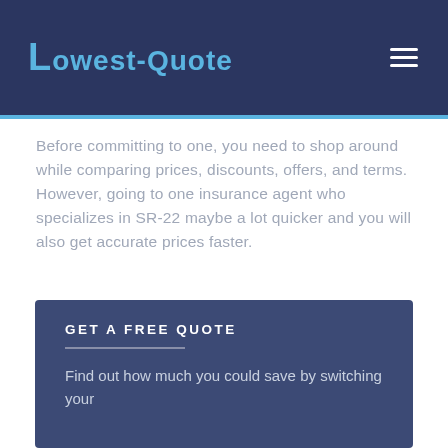Lowest-Quote
Before committing to one, you need to shop around while comparing prices, discounts, offers, and terms. However, going to one insurance agent who specializes in SR-22 maybe a lot quicker and you will also get accurate prices faster.
Keep in mind that since SR-22 insurance is riskier, it will be more expensive than normal auto insurance.
GET A FREE QUOTE
Find out how much you could save by switching your